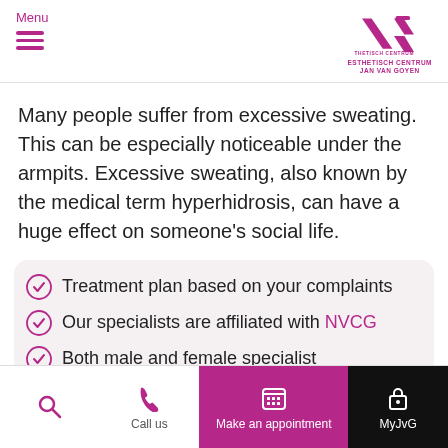Menu — Esthetisch Centrum Jan Van Goyen logo
Many people suffer from excessive sweating. This can be especially noticeable under the armpits. Excessive sweating, also known by the medical term hyperhidrosis, can have a huge effect on someone's social life.
Treatment plan based on your complaints
Our specialists are affiliated with NVCG
Both male and female specialist
Call us | Make an appointment | MyJvG